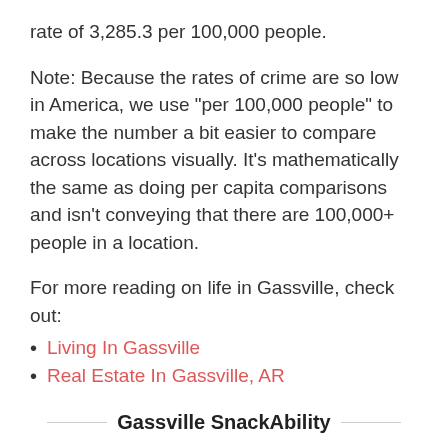rate of 3,285.3 per 100,000 people.
Note: Because the rates of crime are so low in America, we use "per 100,000 people" to make the number a bit easier to compare across locations visually. It's mathematically the same as doing per capita comparisons and isn't conveying that there are 100,000+ people in a location.
For more reading on life in Gassville, check out:
Living In Gassville
Real Estate In Gassville, AR
Gassville SnackAbility